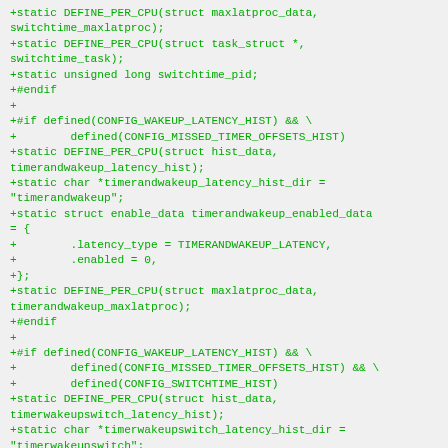+static DEFINE_PER_CPU(struct maxlatproc_data, switchtime_maxlatproc);
+static DEFINE_PER_CPU(struct task_struct *, switchtime_task);
+static unsigned long switchtime_pid;
+#endif
+
+#if defined(CONFIG_WAKEUP_LATENCY_HIST) && \
+        defined(CONFIG_MISSED_TIMER_OFFSETS_HIST)
+static DEFINE_PER_CPU(struct hist_data, timerandwakeup_latency_hist);
+static char *timerandwakeup_latency_hist_dir = "timerandwakeup";
+static struct enable_data timerandwakeup_enabled_data = {
+        .latency_type = TIMERANDWAKEUP_LATENCY,
+        .enabled = 0,
+};
+static DEFINE_PER_CPU(struct maxlatproc_data, timerandwakeup_maxlatproc);
+#endif
+
+#if defined(CONFIG_WAKEUP_LATENCY_HIST) && \
+        defined(CONFIG_MISSED_TIMER_OFFSETS_HIST) && \
+        defined(CONFIG_SWITCHTIME_HIST)
+static DEFINE_PER_CPU(struct hist_data, timerwakeupswitch_latency_hist);
+static char *timerwakeupswitch_latency_hist_dir = "timerwakeupswitch";
+static struct enable_data
timerwakeupswitch_enabled_data = {